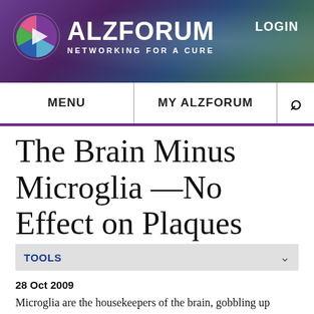[Figure (logo): Alzforum logo with colorful circular icon and text 'ALZFORUM NETWORKING FOR A CURE' on a purple/dark gradient banner background with LOGIN button]
MENU   MY ALZFORUM
The Brain Minus Microglia —No Effect on Plaques
TOOLS
28 Oct 2009
Microglia are the housekeepers of the brain, gobbling up foreign bodies and protecting neurons from damage. In culture, these cells are well known for ingesting globs of amyloid-β, and in Alzheimer disease they surround